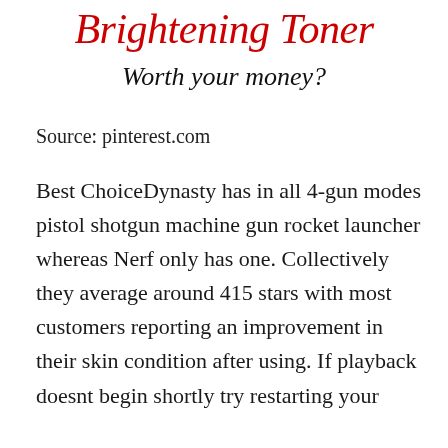Brightening Toner
Worth your money?
Source: pinterest.com
Best ChoiceDynasty has in all 4-gun modes pistol shotgun machine gun rocket launcher whereas Nerf only has one. Collectively they average around 415 stars with most customers reporting an improvement in their skin condition after using. If playback doesnt begin shortly try restarting your